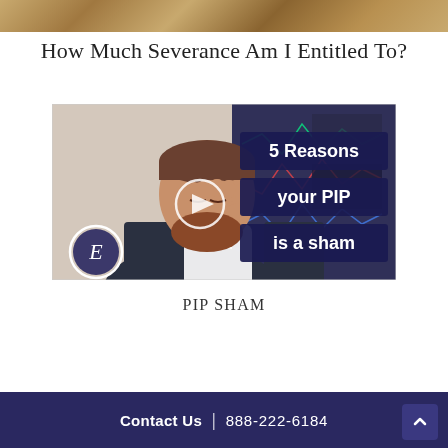[Figure (photo): Decorative textured banner image at top of page, brown/tan stone or wood texture]
How Much Severance Am I Entitled To?
[Figure (screenshot): Video thumbnail showing a stressed businessman with hand on forehead, dark navy overlay boxes with white text reading '5 Reasons your PIP is a sham', a play button circle in center, and an 'E' logo circle in the lower left corner]
PIP SHAM
Contact Us  |  888-222-6184